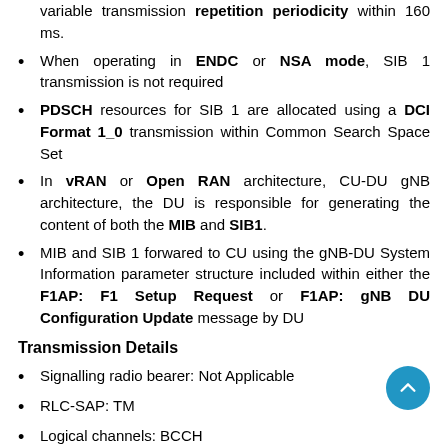variable transmission repetition periodicity within 160 ms.
When operating in ENDC or NSA mode, SIB 1 transmission is not required
PDSCH resources for SIB 1 are allocated using a DCI Format 1_0 transmission within Common Search Space Set
In vRAN or Open RAN architecture, CU-DU gNB architecture, the DU is responsible for generating the content of both the MIB and SIB1.
MIB and SIB 1 forwared to CU using the gNB-DU System Information parameter structure included within either the F1AP: F1 Setup Request or F1AP: gNB DU Configuration Update message by DU
Transmission Details
Signalling radio bearer: Not Applicable
RLC-SAP: TM
Logical channels: BCCH
Transport Channel: DL-SCH